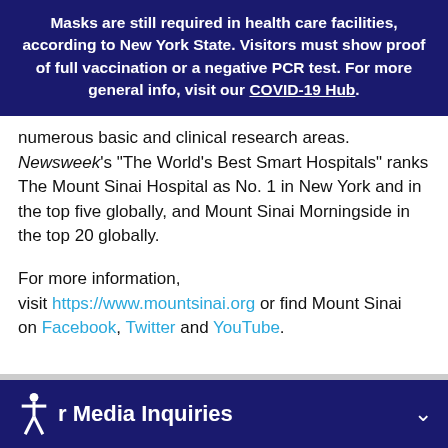Masks are still required in health care facilities, according to New York State. Visitors must show proof of full vaccination or a negative PCR test. For more general info, visit our COVID-19 Hub.
numerous basic and clinical research areas. Newsweek's "The World's Best Smart Hospitals" ranks The Mount Sinai Hospital as No. 1 in New York and in the top five globally, and Mount Sinai Morningside in the top 20 globally.
For more information, visit https://www.mountsinai.org or find Mount Sinai on Facebook, Twitter and YouTube.
r Media Inquiries